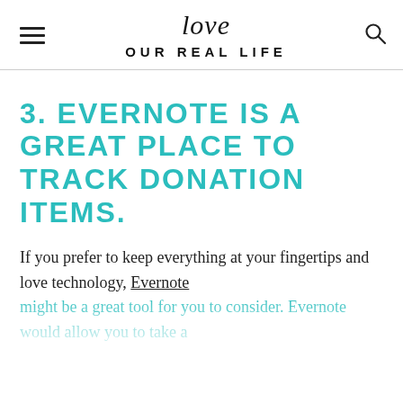love OUR REAL LIFE
3. EVERNOTE IS A GREAT PLACE TO TRACK DONATION ITEMS.
If you prefer to keep everything at your fingertips and love technology, Evernote might be a great tool for you to consider. Evernote would allow you to take a